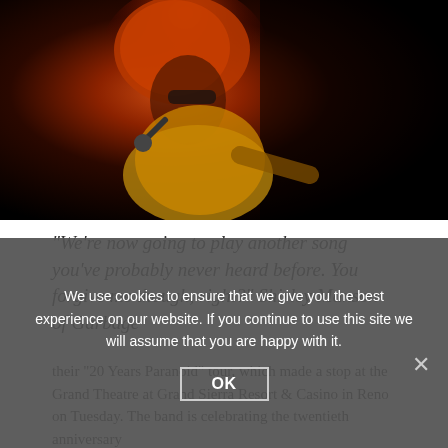[Figure (photo): Concert photo of a woman with red hair wearing a gold sequined outfit, singing into a microphone on a dark stage with red lighting.]
“We’re now going to play another song you’ve probably never heard before.  You forgive me though, right?” Shirley Manson of Garbage
their “20 Years Paranoid” tour, which made a stop at the Grand Theatre at Grand Sierra Resort & Casino in Reno on Tuesday.  The band is celebrating the twentieth anniversary
We use cookies to ensure that we give you the best experience on our website. If you continue to use this site we will assume that you are happy with it.